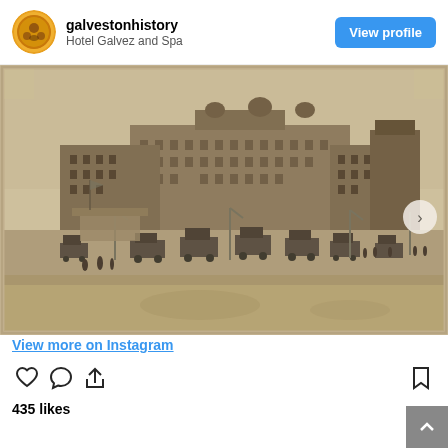[Figure (logo): Circular Instagram profile avatar with orange/yellow background and decorative seal-like design for galvestonhistory]
galvestonhistory
Hotel Galvez and Spa
View profile
[Figure (photo): Vintage sepia/black-and-white photograph of Hotel Galvez in Galveston, Texas, showing the historic hotel building along the seawall with early automobiles and people on the street]
View more on Instagram
435 likes